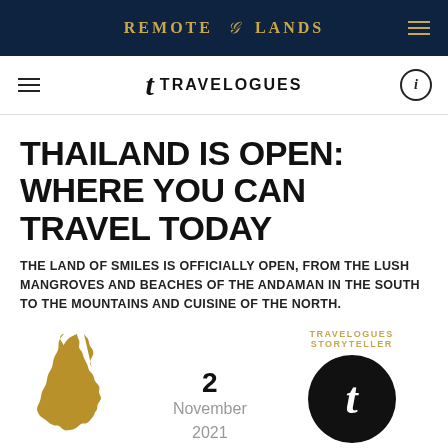REMOTE LANDS
t TRAVELOGUES
THAILAND IS OPEN: WHERE YOU CAN TRAVEL TODAY
THE LAND OF SMILES IS OFFICIALLY OPEN, FROM THE LUSH MANGROVES AND BEACHES OF THE ANDAMAN IN THE SOUTH TO THE MOUNTAINS AND CUISINE OF THE NORTH.
[Figure (map): Gold silhouette map of Thailand]
THAILAND
2
November
2021
[Figure (logo): Black circle with italic t — Travelogues logo]
TRAVELOGUES